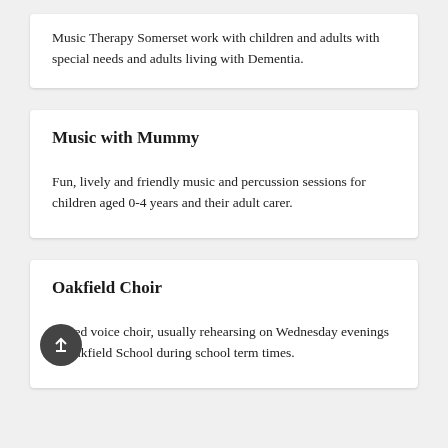Music Therapy Somerset work with children and adults with special needs and adults living with Dementia.
Music with Mummy
Fun, lively and friendly music and percussion sessions for children aged 0-4 years and their adult carer.
Oakfield Choir
Mixed voice choir, usually rehearsing on Wednesday evenings at Oakfield School during school term times.